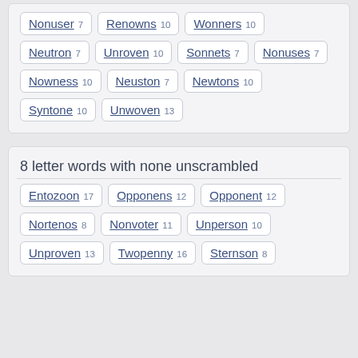Nonuser 7
Renowns 10
Wonners 10
Neutron 7
Unroven 10
Sonnets 7
Nonuses 7
Nowness 10
Neuston 7
Newtons 10
Syntone 10
Unwoven 13
8 letter words with none unscrambled
Entozoon 17
Opponens 12
Opponent 12
Nortenos 8
Nonvoter 11
Unperson 10
Unproven 13
Twopenny 16
Sternson 8